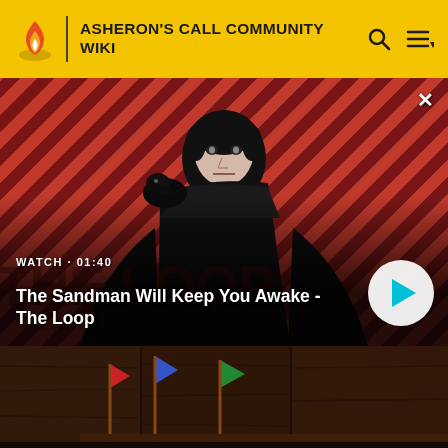ASHERON'S CALL COMMUNITY WIKI
[Figure (screenshot): Video thumbnail showing a pale man in dark clothing with a black crow on his shoulder, against a diagonal red and dark stripe background. Title: The Sandman Will Keep You Awake - The Loop. Watch time: 01:40. Play button visible.]
[Figure (screenshot): Game screenshot showing colored flags (red, blue, green) on a wooden surface with dark wood-panel background.]